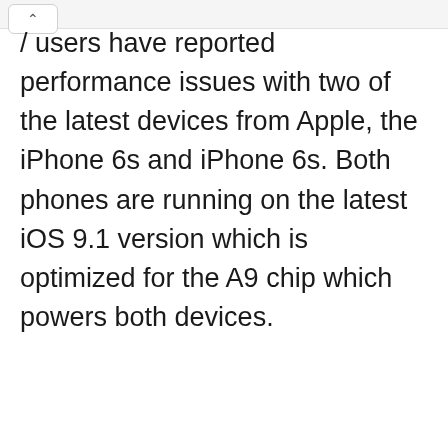/ users have reported performance issues with two of the latest devices from Apple, the iPhone 6s and iPhone 6s. Both phones are running on the latest iOS 9.1 version which is optimized for the A9 chip which powers both devices.